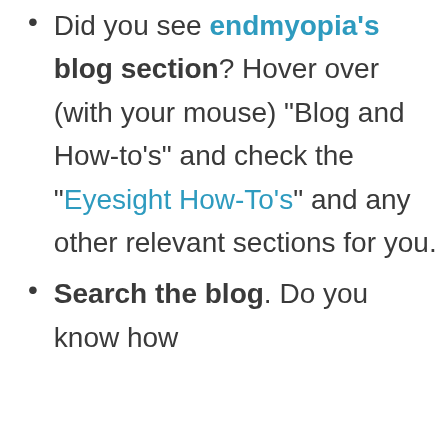Did you see endmyopia’s blog section? Hover over (with your mouse) “Blog and How-to’s” and check the “Eyesight How-To’s” and any other relevant sections for you.
Search the blog. Do you know how